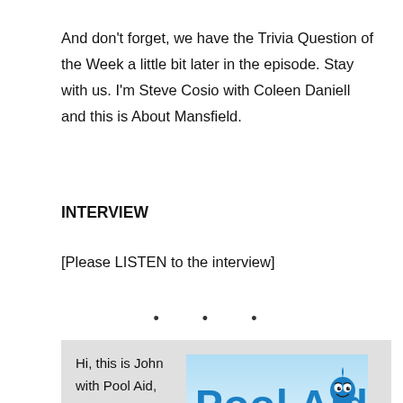And don't forget, we have the Trivia Question of the Week a little bit later in the episode. Stay with us. I'm Steve Cosio with Coleen Daniell and this is About Mansfield.
INTERVIEW
[Please LISTEN to the interview]
• • •
[Figure (other): Advertisement box with text 'Hi, this is John with Pool Aid, your local' on the left and a Pool Aid logo (blue text with cartoon water drop character) on the right, on a light grey background.]